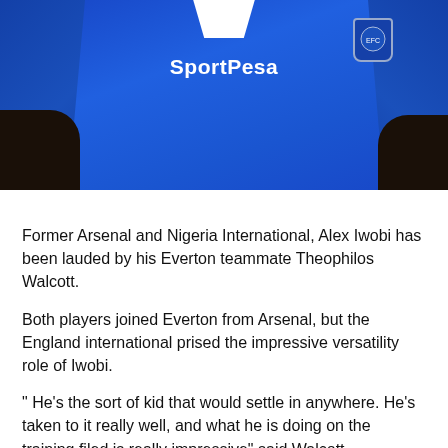[Figure (photo): Two players wearing blue Everton SportPesa jerseys against a dark navy background. The white collar and SportPesa sponsor text visible on the shirt, along with the Everton badge on the right chest.]
Former Arsenal and Nigeria International, Alex Iwobi has been lauded by his Everton teammate Theophilos Walcott.
Both players joined Everton from Arsenal, but the England international prised the impressive versatility role of Iwobi.
" He's the sort of kid that would settle in anywhere. He's taken to it really well, and what he is doing on the training filed is really impressive" said Walcott.